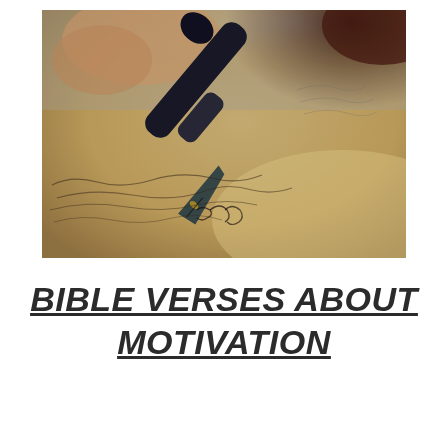[Figure (photo): Close-up photograph of a fountain pen nib writing cursive script on paper, with a warm sepia/golden tone. A hand holds the pen from the upper left, and handwritten text is visible on the paper. The background is softly blurred.]
BIBLE VERSES ABOUT MOTIVATION